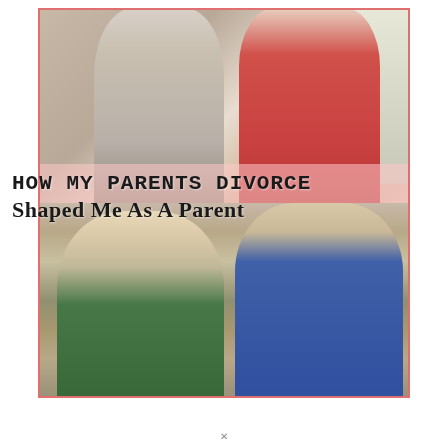[Figure (photo): A stock photo showing two adults (a man and a woman) arguing in the background, while two blond children (a girl and a boy) sit in the foreground looking sad, resting their faces in their hands. Overlaid on the image is the article title text.]
HOW MY PARENTS DIVORCE Shaped Me As A Parent